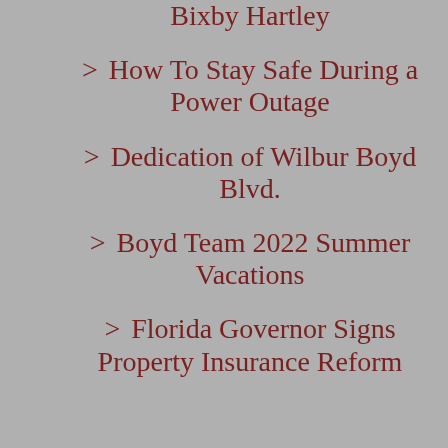Bixby Hartley
> How To Stay Safe During a Power Outage
> Dedication of Wilbur Boyd Blvd.
> Boyd Team 2022 Summer Vacations
> Florida Governor Signs Property Insurance Reform